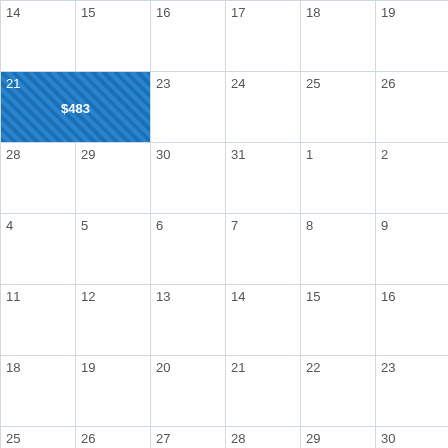| Col1 | Col2 | Col3 | Col4 | Col5 | Col6 | Col7 |
| --- | --- | --- | --- | --- | --- | --- |
| 14 | 15 | 16 | 17 | 18 | 19 | 20 $483 |
| 21 $483 | 22 | 23 | 24 | 25 | 26 | 27 |
| 28 | 29 | 30 | 31 | 1 | 2 | 3 |
| 4 | 5 | 6 | 7 | 8 | 9 | 10 |
| 11 | 12 | 13 | 14 | 15 | 16 | 17 |
| 18 | 19 | 20 | 21 | 22 | 23 | 24 |
| 25 | 26 | 27 | 28 | 29 | 30 | 1 |